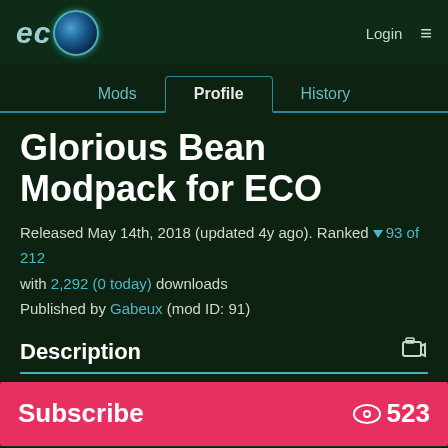ECO [globe icon] | Login ≡
Mods | Profile | History
Glorious Bean Modpack for ECO
Released May 14th, 2018 (updated 4y ago). Ranked ▼ 93 of 212 with 2,292 (0 today) downloads
Published by Gabeux (mod ID: 91)
Description
Subscribe  👁 523
Very Positive  👍 11  👎 2